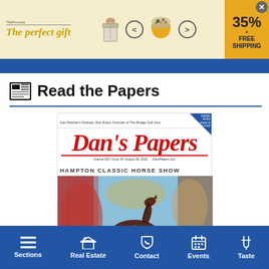[Figure (screenshot): Advertisement banner: 'The perfect gift' with gift imagery, 35% off badge, FREE SHIPPING, close button]
Read the Papers
[Figure (screenshot): Dan's Papers magazine cover showing 'Dan Rattiner's Podcast: Bob Rubin, Founder of The Bridge Golf Club' header, Dan's Papers logo in red script, Hampton Classic Horse Show with artwork of a horse on textured colorful background]
Sections | Real Estate | Contact | Events | Taste